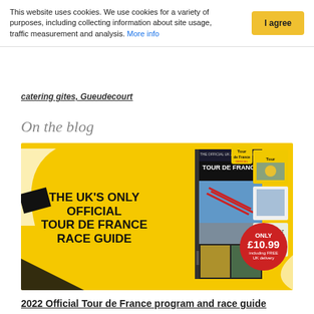This website uses cookies. We use cookies for a variety of purposes, including collecting information about site usage, traffic measurement and analysis. More info
catering gites, Gueudecourt
On the blog
[Figure (illustration): Yellow banner advertisement for The UK's Only Official Tour de France Race Guide, showing a magazine cover with Tour de France imagery, price badge saying ONLY £10.99 including FREE UK delivery]
2022 Official Tour de France program and race guide